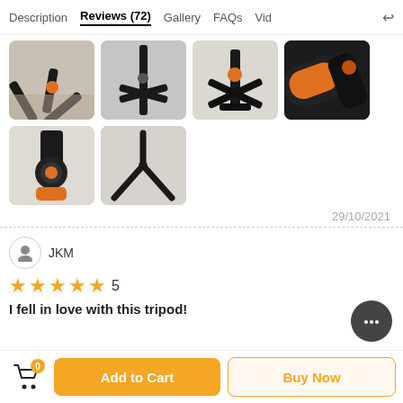Description | Reviews (72) | Gallery | FAQs | Vid
[Figure (photo): Gallery of 6 tripod product photos arranged in two rows: Row 1 has 4 images showing tripod legs and close-up of joints with orange accents; Row 2 has 2 images showing tripod head detail and top-down view of tripod legs.]
29/10/2021
JKM — 5 stars — I fell in love with this tripod!